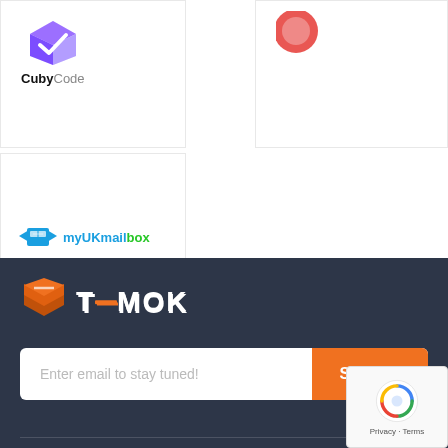[Figure (logo): CubyCode logo - purple 3D cube shape with text CubyCode below in bold, Code in lighter weight]
[Figure (logo): Partial red circular logo (Amazon or similar) in top right card, mostly cropped]
[Figure (logo): myUKmailbox logo - blue box icon with wings and colored text myUKmailbox]
[Figure (logo): TEMOK logo - orange layered hexagon icon with white bold text TEMOK]
Enter email to stay tuned!
Sign Up